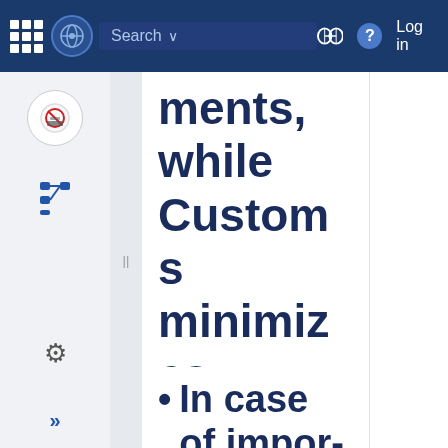Search | Log in
ments, while Customs minimizes clearance audit.
In case of importing protec